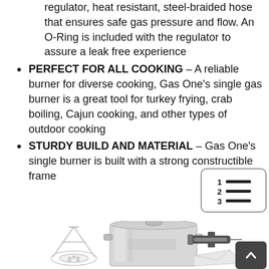regulator, heat resistant, steel-braided hose that ensures safe gas pressure and flow. An O-Ring is included with the regulator to assure a leak free experience
PERFECT FOR ALL COOKING – A reliable burner for diverse cooking, Gas One's single gas burner is a great tool for turkey frying, crab boiling, Cajun cooking, and other types of outdoor cooking
STURDY BUILD AND MATERIAL – Gas One's single burner is built with a strong constructible frame
[Figure (other): Table of contents icon showing numbered list lines]
[Figure (photo): Product photo showing a large stainless steel stock pot with lid, a turkey frying rack/basket, a marinade injector, and other accessories for outdoor cooking]